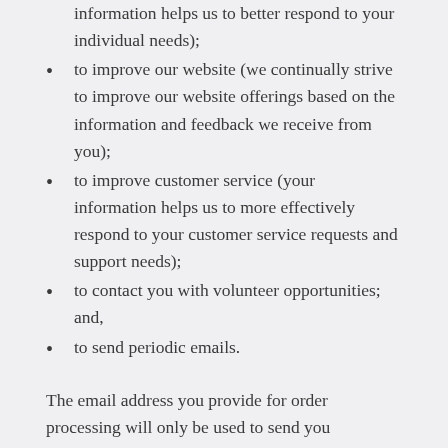information helps us to better respond to your individual needs);
to improve our website (we continually strive to improve our website offerings based on the information and feedback we receive from you);
to improve customer service (your information helps us to more effectively respond to your customer service requests and support needs);
to contact you with volunteer opportunities; and,
to send periodic emails.
The email address you provide for order processing will only be used to send you